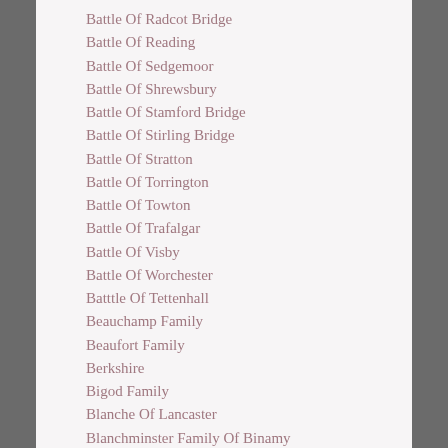Battle Of Radcot Bridge
Battle Of Reading
Battle Of Sedgemoor
Battle Of Shrewsbury
Battle Of Stamford Bridge
Battle Of Stirling Bridge
Battle Of Stratton
Battle Of Torrington
Battle Of Towton
Battle Of Trafalgar
Battle Of Visby
Battle Of Worchester
Batttle Of Tettenhall
Beauchamp Family
Beaufort Family
Berkshire
Bigod Family
Blanche Of Lancaster
Blanchminster Family Of Binamy